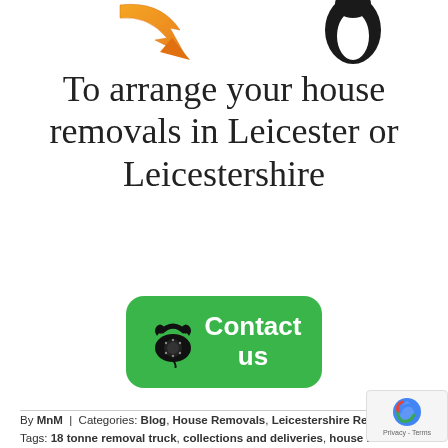[Figure (illustration): Orange downward arrow graphic on the left and a partial black and white bird/penguin image on the right, visible at the top of the page]
To arrange your house removals in Leicester or Leicestershire
[Figure (other): Green rounded rectangle button with a black rotary telephone icon on the left and white bold text reading 'Contact us' on the right]
By MnM | Categories: Blog, House Removals, Leicestershire Removals | Tags: 18 tonne removal truck, collections and deliveries, house removal companies, house removal comp... leicester, house removals, house removals leicester, local removal